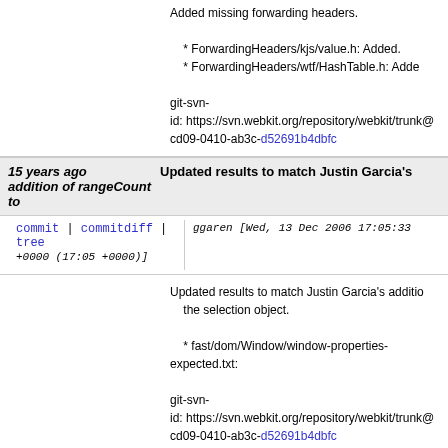Added missing forwarding headers.

* ForwardingHeaders/kjs/value.h: Added.
* ForwardingHeaders/wtf/HashTable.h: Added.

git-svn-id: https://svn.webkit.org/repository/webkit/trunk@cd09-0410-ab3c-d52691b4dbfc
15 years ago  Updated results to match Justin Garcia's addition of rangeCount to
commit | commitdiff | tree   ggaren [Wed, 13 Dec 2006 17:05:33 +0000 (17:05 +0000)]
Updated results to match Justin Garcia's addition of rangeCount to the selection object.

* fast/dom/Window/window-properties-expected.txt:

git-svn-id: https://svn.webkit.org/repository/webkit/trunk@cd09-0410-ab3c-d52691b4dbfc
15 years ago  Make qmake the default build environment for the Qt port.
commit | commitdiff | tree   zack [Wed, 13 Dec 2006 14:45:38 +0000